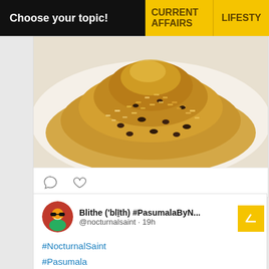Choose your topic! | CURRENT AFFAIRS | LIFESTY
[Figure (photo): Close-up photo of rice pilaf or fried rice with raisins/dried fruit on a white plate]
[Figure (infographic): Comment and heart/like icons below the food photo]
Blithe ('blīth) #PasumalaByN... @nocturnalsaint · 19h
#NocturnalSaint
#Pasumala
#UlikbaDiaries
[Figure (photo): Bottom strip showing a salad or fresh vegetables with green lettuce]